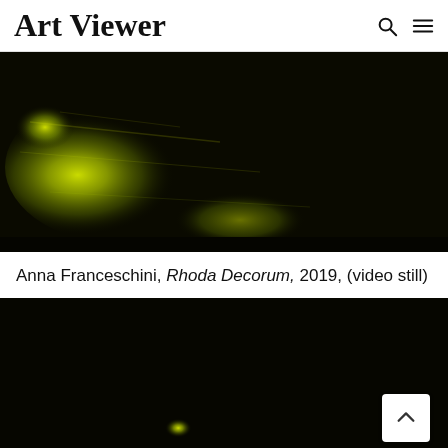Art Viewer
[Figure (photo): Abstract yellow-green glowing figure or form against a dark/black background, blurred motion effect, video still from artwork Rhoda Decorum]
Anna Franceschini, Rhoda Decorum, 2019, (video still)
[Figure (photo): Dark/black background with a small glowing yellow-green form near the center-left, performance or video still, with a scroll-to-top button in the lower-right corner]